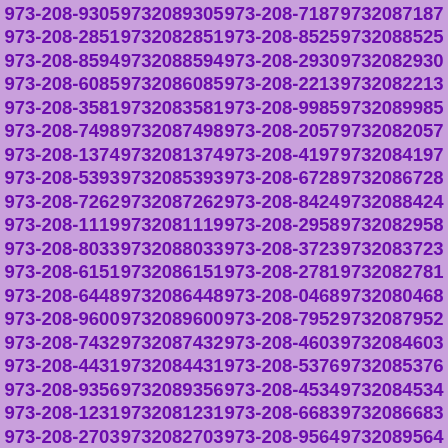973-208-9305 9732089305 973-208-7187 9732087187 973-208-2851 9732082851 973-208-8525 9732088525 973-208-8594 9732088594 973-208-2930 9732082930 973-208-6085 9732086085 973-208-2213 9732082213 973-208-3581 9732083581 973-208-9985 9732089985 973-208-7498 9732087498 973-208-2057 9732082057 973-208-1374 9732081374 973-208-4197 9732084197 973-208-5393 9732085393 973-208-6728 9732086728 973-208-7262 9732087262 973-208-8424 9732088424 973-208-1119 9732081119 973-208-2958 9732082958 973-208-8033 9732088033 973-208-3723 9732083723 973-208-6151 9732086151 973-208-2781 9732082781 973-208-6448 9732086448 973-208-0468 9732080468 973-208-9600 9732089600 973-208-7952 9732087952 973-208-7432 9732087432 973-208-4603 9732084603 973-208-4431 9732084431 973-208-5376 9732085376 973-208-9356 9732089356 973-208-4534 9732084534 973-208-1231 9732081231 973-208-6683 9732086683 973-208-2703 9732082703 973-208-9564 9732089564 973-208-1247 9732081247 973-208-5547 9732085547